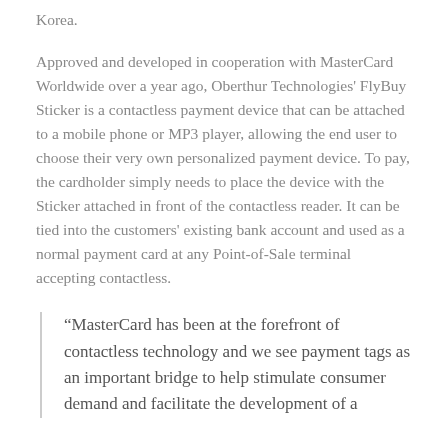Korea.
Approved and developed in cooperation with MasterCard Worldwide over a year ago, Oberthur Technologies' FlyBuy Sticker is a contactless payment device that can be attached to a mobile phone or MP3 player, allowing the end user to choose their very own personalized payment device. To pay, the cardholder simply needs to place the device with the Sticker attached in front of the contactless reader. It can be tied into the customers' existing bank account and used as a normal payment card at any Point-of-Sale terminal accepting contactless.
“MasterCard has been at the forefront of contactless technology and we see payment tags as an important bridge to help stimulate consumer demand and facilitate the development of a